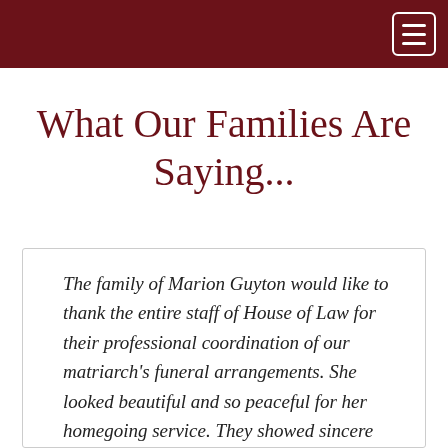What Our Families Are Saying...
The family of Marion Guyton would like to thank the entire staff of House of Law for their professional coordination of our matriarch's funeral arrangements. She looked beautiful and so peaceful for her homegoing service. They showed sincere compassion and caring in every aspect of the service, and we greatly appreciated it. Special thanks to Chandra, Dwight, Mark